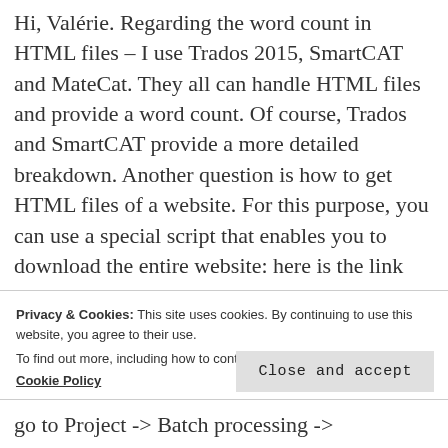Hi, Valérie. Regarding the word count in HTML files – I use Trados 2015, SmartCAT and MateCat. They all can handle HTML files and provide a word count. Of course, Trados and SmartCAT provide a more detailed breakdown. Another question is how to get HTML files of a website. For this purpose, you can use a special script that enables you to download the entire website: here is the link
Privacy & Cookies: This site uses cookies. By continuing to use this website, you agree to their use.
To find out more, including how to control cookies, see here:
Cookie Policy
Close and accept
go to Project -> Batch processing ->